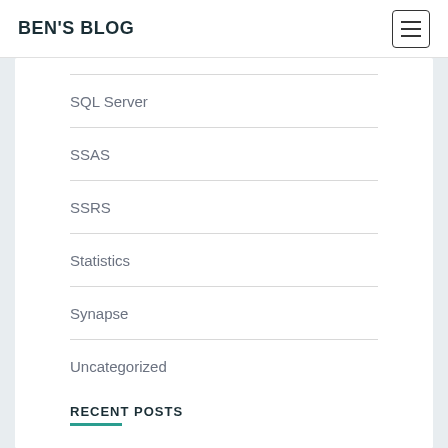BEN'S BLOG
SQL Server
SSAS
SSRS
Statistics
Synapse
Uncategorized
RECENT POSTS